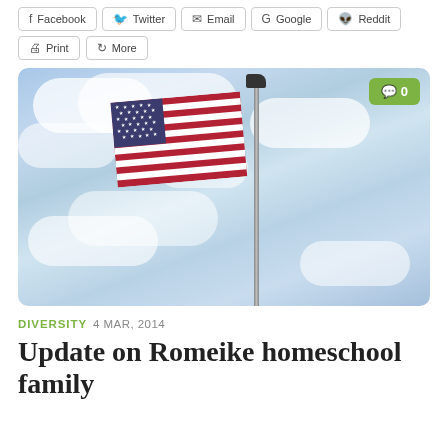Facebook
Twitter
Email
Google
Reddit
Print
More
[Figure (photo): American flag on a flagpole against a partly cloudy blue sky, with a comment count badge showing '0' in green in the top-right corner.]
DIVERSITY  4 MAR, 2014
Update on Romeike homeschool family